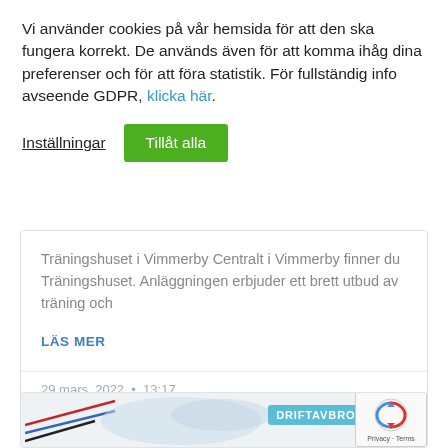Vi använder cookies på vår hemsida för att den ska fungera korrekt. De används även för att komma ihåg dina preferenser och för att föra statistik. För fullständig info avseende GDPR, klicka här.
Inställningar
Tillåt alla
Träningshuset i Vimmerby Centralt i Vimmerby finner du Träningshuset. Anläggningen erbjuder ett brett utbud av träning och
LÄS MER
29 mars, 2022  •  13:17
[Figure (screenshot): Partial bottom card showing a logo with lines and DRIFTAVBROT badge, and a reCAPTCHA widget in the corner]